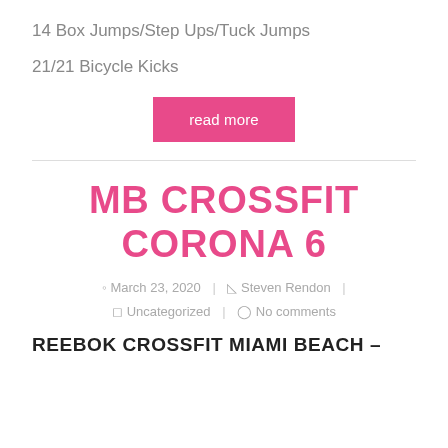14 Box Jumps/Step Ups/Tuck Jumps
21/21 Bicycle Kicks
read more
MB CROSSFIT CORONA 6
March 23, 2020 | Steven Rendon | Uncategorized | No comments
REEBOK CROSSFIT MIAMI BEACH –